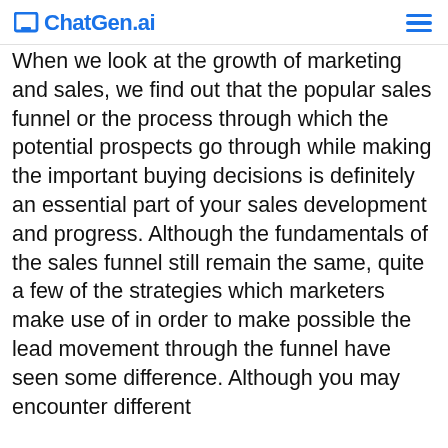ChatGen.ai
When we look at the growth of marketing and sales, we find out that the popular sales funnel or the process through which the potential prospects go through while making the important buying decisions is definitely an essential part of your sales development and progress. Although the fundamentals of the sales funnel still remain the same, quite a few of the strategies which marketers make use of in order to make possible the lead movement through the funnel have seen some difference. Although you may encounter different